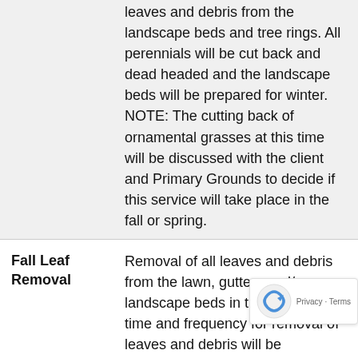leaves and debris from the landscape beds and tree rings. All perennials will be cut back and dead headed and the landscape beds will be prepared for winter. NOTE: The cutting back of ornamental grasses at this time will be discussed with the client and Primary Grounds to decide if this service will take place in the fall or spring.
Fall Leaf Removal
Removal of all leaves and debris from the lawn, gutters and/or landscape beds in the fall. The time and frequency for removal of leaves and debris will be determined between Primary Grounds and the client and priced accordingly. Leaves and debris can be hauled off or left on site depending customers request.